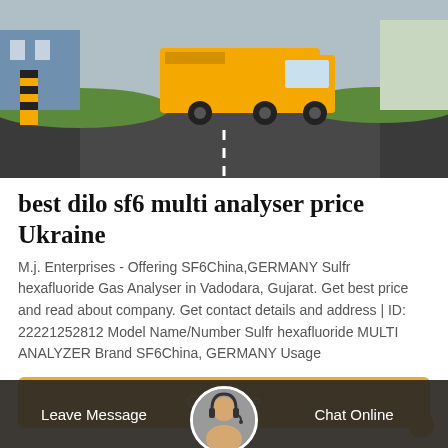[Figure (photo): Yellow delivery truck on a road with green landscaping and buildings in the background]
best dilo sf6 multi analyser price Ukraine
M.j. Enterprises - Offering SF6China,GERMANY Sulfr hexafluoride Gas Analyser in Vadodara, Gujarat. Get best price and read about company. Get contact details and address | ID: 22221252812 Model Name/Number Sulfr hexafluoride MULTI ANALYZER Brand SF6China, GERMANY Usage
Get Price
Leave Message
Chat Online